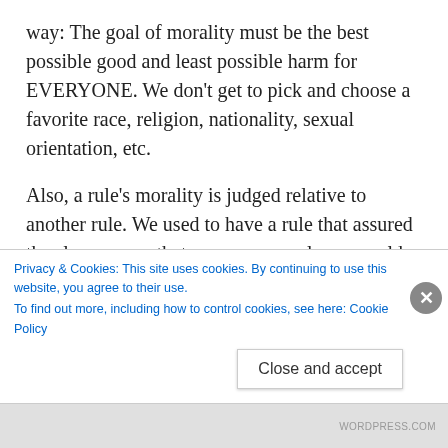way: The goal of morality must be the best possible good and least possible harm for EVERYONE. We don't get to pick and choose a favorite race, religion, nationality, sexual orientation, etc.
Also, a rule's morality is judged relative to another rule. We used to have a rule that assured the slave owner that any runaway slaves would be returned. Now we have a rule that outlaws slavery. We choose between two possible rules (or courses of action) based upon how well
Privacy & Cookies: This site uses cookies. By continuing to use this website, you agree to their use.
To find out more, including how to control cookies, see here: Cookie Policy
Close and accept